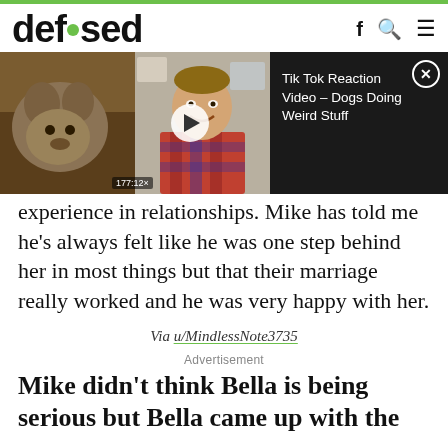defused
[Figure (screenshot): Video player showing a dog on the left side and a man in a plaid shirt on the right, with a dark info panel on the right showing 'Tik Tok Reaction Video – Dogs Doing Weird Stuff' and a close button]
experience in relationships. Mike has told me he's always felt like he was one step behind her in most things but that their marriage really worked and he was very happy with her.
Via u/MindlessNote3735
Advertisement
Mike didn't think Bella is being serious but Bella came up with the